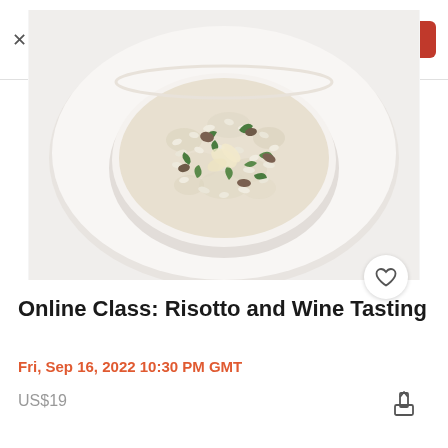[Figure (screenshot): Eventbrite app banner with orange logo, 'Find events you'll love' text, 5 orange stars rating with (148k) reviews, and a red 'Continue' button]
[Figure (photo): A white bowl filled with creamy risotto topped with green herbs and mushrooms, served on a white plate, photographed from above on a white background]
Online Class: Risotto and Wine Tasting
Fri, Sep 16, 2022 10:30 PM GMT
US$19